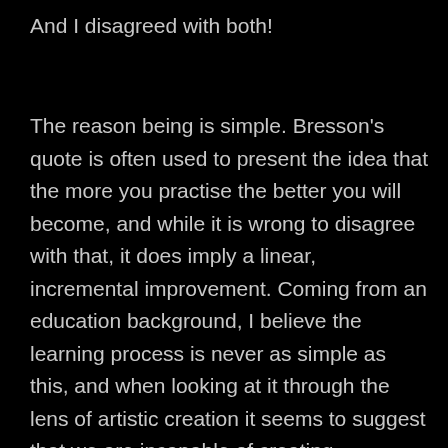And I disagreed with both!
The reason being is simple. Bresson's quote is often used to present the idea that the more you practise the better you will become, and while it is wrong to disagree with that, it does imply a linear, incremental improvement. Coming from an education background, I believe the learning process is never as simple as this, and when looking at it through the lens of artistic creation it seems to suggest that we are incapable of creating something of artistic merit in our initial stages of expression. It brings to mind a couple of  Picasso's quotes: “Every child is an artist. The problem is how to remain an artist once